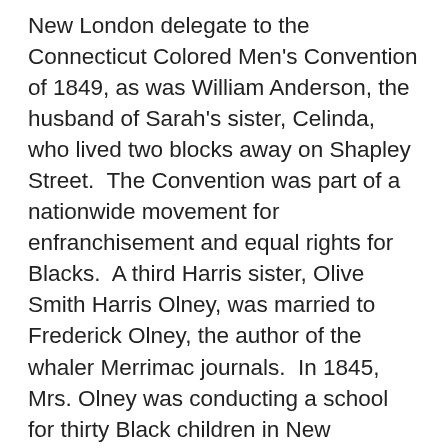New London delegate to the Connecticut Colored Men's Convention of 1849, as was William Anderson, the husband of Sarah's sister, Celinda, who lived two blocks away on Shapley Street.  The Convention was part of a nationwide movement for enfranchisement and equal rights for Blacks.  A third Harris sister, Olive Smith Harris Olney, was married to Frederick Olney, the author of the whaler Merrimac journals.  In 1845, Mrs. Olney was conducting a school for thirty Black children in New London.  Yet another sister, Mary Harris Williams, had married Pelleman Williams, a teacher who served as Vice-President of that 1849 Convention.  Mary had also been a student at Crandall's School in Canterbury.  In 1848, the great abolitionist orator and freedom fighter Frederick